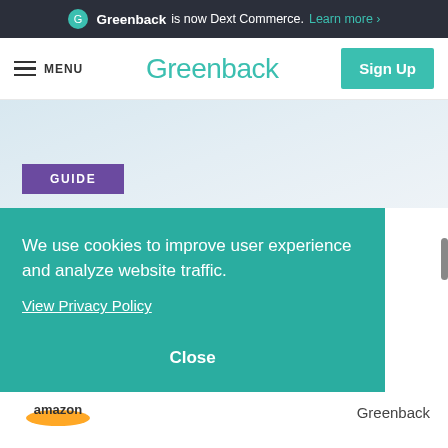Greenback is now Dext Commerce. Learn more ›
MENU | Greenback | Sign Up
[Figure (screenshot): Light blue-grey gradient hero section with a purple GUIDE badge at the bottom left]
GUIDE
We use cookies to improve user experience and analyze website traffic.
View Privacy Policy
Close
[Figure (logo): Partial Amazon logo and Greenback logo visible at bottom of page]